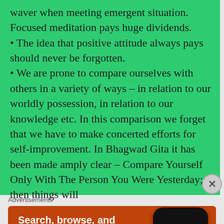waver when meeting emergent situation. Focused meditation pays huge dividends.
• The idea that positive attitude always pays should never be forgotten.
• We are prone to compare ourselves with others in a variety of ways – in relation to our worldly possession, in relation to our knowledge etc. In this comparison we forget that we have to make concerted efforts for self-improvement. In Bhagwad Gita it has been made amply clear – Compare Yourself Only With The Person You Were Yesterday; then things will
Advertisements
[Figure (infographic): DuckDuckGo advertisement banner showing a smartphone with DuckDuckGo logo. Text reads: 'Search, browse, and email with more privacy. All in One Free App']